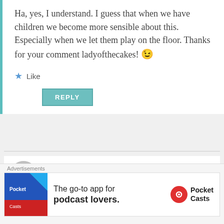Ha, yes, I understand. I guess that when we have children we become more sensible about this. Especially when we let them play on the floor. Thanks for your comment ladyofthecakes! 😉
★ Like
REPLY
Misirlou
November 24, 2013 at 11:23 am
When visiting friends who are Moslem or my yoga instructor, I take off my shoes at the door as
Advertisements
The go-to app for podcast lovers.
Pocket Casts